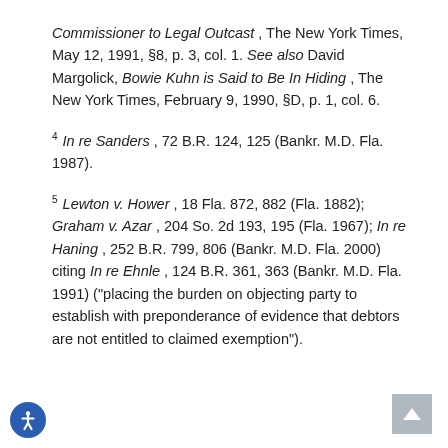Commissioner to Legal Outcast, The New York Times, May 12, 1991, §8, p. 3, col. 1. See also David Margolick, Bowie Kuhn is Said to Be In Hiding, The New York Times, February 9, 1990, §D, p. 1, col. 6.
4 In re Sanders, 72 B.R. 124, 125 (Bankr. M.D. Fla. 1987).
5 Lewton v. Hower, 18 Fla. 872, 882 (Fla. 1882); Graham v. Azar, 204 So. 2d 193, 195 (Fla. 1967); In re Haning, 252 B.R. 799, 806 (Bankr. M.D. Fla. 2000) citing In re Ehnle, 124 B.R. 361, 363 (Bankr. M.D. Fla. 1991) ("placing the burden on objecting party to establish with preponderance of evidence that debtors are not entitled to claimed exemption").